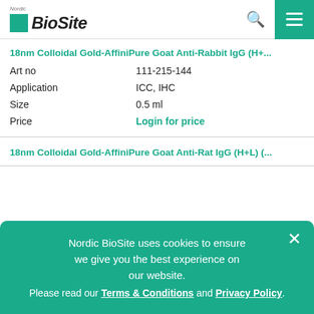Nordic BioSite
18nm Colloidal Gold-AffiniPure Goat Anti-Rabbit IgG (H+...
| Field | Value |
| --- | --- |
| Art no | 111-215-144 |
| Application | ICC, IHC |
| Size | 0.5 ml |
| Price | Login for price |
18nm Colloidal Gold-AffiniPure Goat Anti-Rat IgG (H+L) (...
Nordic BioSite uses cookies to ensure we give you the best experience on our website. Please read our Terms & Conditions and Privacy Policy.